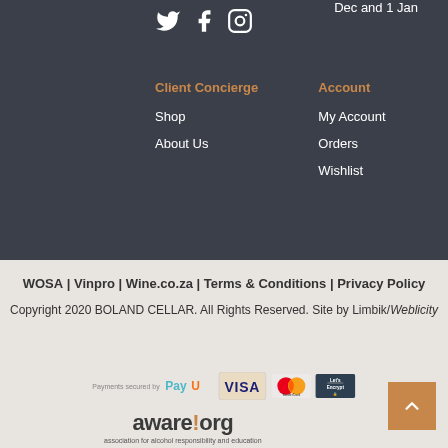Dec and 1 Jan
[Figure (illustration): Social media icons: Twitter bird, Facebook F, Instagram camera]
Client Concierge
Shop
About Us
Account
My Account
Orders
Wishlist
WOSA | Vinpro | Wine.co.za | Terms & Conditions | Privacy Policy
Copyright 2020 BOLAND CELLAR. All Rights Reserved. Site by Limbik/Weblicity
[Figure (logo): Payment logos: PayU, VISA, MasterCard, Let's Encrypt]
[Figure (logo): aware!org — association for alcohol responsibility and education]